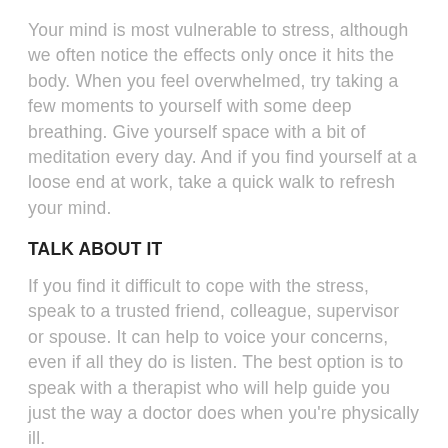Your mind is most vulnerable to stress, although we often notice the effects only once it hits the body. When you feel overwhelmed, try taking a few moments to yourself with some deep breathing. Give yourself space with a bit of meditation every day. And if you find yourself at a loose end at work, take a quick walk to refresh your mind.
TALK ABOUT IT
If you find it difficult to cope with the stress, speak to a trusted friend, colleague, supervisor or spouse. It can help to voice your concerns, even if all they do is listen. The best option is to speak with a therapist who will help guide you just the way a doctor does when you're physically ill.